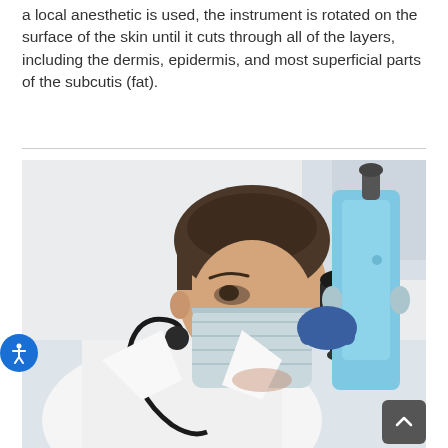a local anesthetic is used, the instrument is rotated on the surface of the skin until it cuts through all of the layers, including the dermis, epidermis, and most superficial parts of the subcutis (fat).
[Figure (photo): A male doctor or scientist wearing a white lab coat, surgical mask pulled down, blue gloves, and a stethoscope, looking through a microscope in a laboratory setting. The microscope is light blue and black.]